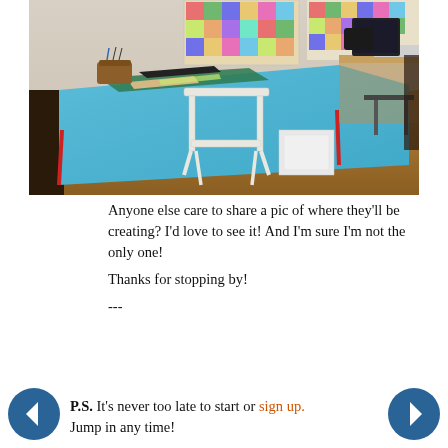[Figure (photo): A craft/sewing room with a large table covered in a blue cloth, a cutting mat, a white folding chair, a basket of craft supplies, storage boxes underneath the table, quilts hanging on the wall in background, and another desk with a computer in the background.]
Anyone else care to share a pic of where they'll be creating?  I'd love to see it!  And I'm sure I'm not the only one!

Thanks for stopping by!

---
P.S. It's never too late to start or sign up. Jump in any time!